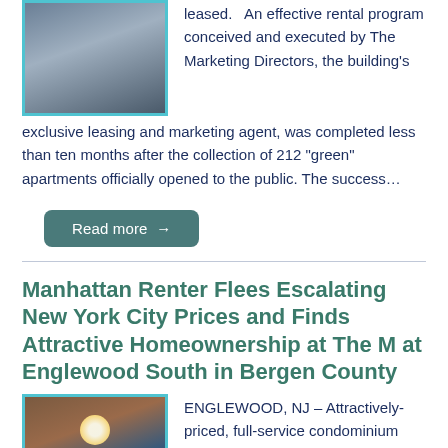[Figure (photo): Photo of a multi-story apartment building with cyan border]
leased.   An effective rental program conceived and executed by The Marketing Directors, the building's exclusive leasing and marketing agent, was completed less than ten months after the collection of 212 “green” apartments officially opened to the public. The success…
Read more →
Manhattan Renter Flees Escalating New York City Prices and Finds Attractive Homeownership at The M at Englewood South in Bergen County
[Figure (photo): Photo of a red-brick condominium building with sun glare, cyan border]
ENGLEWOOD, NJ – Attractively-priced, full-service condominium communities in New Jersey’s